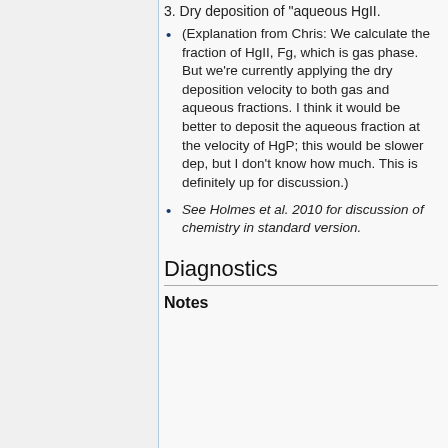3. Dry deposition of "aqueous HgII.
(Explanation from Chris: We calculate the fraction of HgII, Fg, which is gas phase. But we're currently applying the dry deposition velocity to both gas and aqueous fractions. I think it would be better to deposit the aqueous fraction at the velocity of HgP; this would be slower dep, but I don't know how much. This is definitely up for discussion.)
See Holmes et al. 2010 for discussion of chemistry in standard version.
Diagnostics
Notes